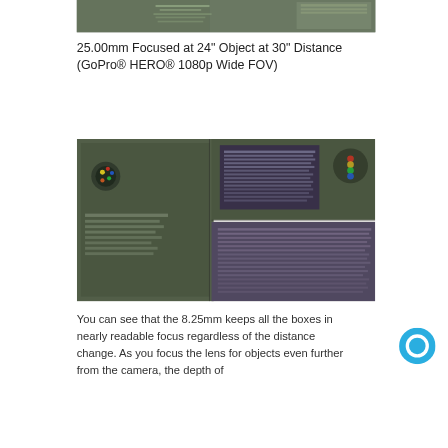[Figure (photo): Partial view of a blurry product box or printed chart image, top portion cropped, showing green/dark tones with faint text]
25.00mm Focused at 24" Object at 30" Distance (GoPro® HERO® 1080p Wide FOV)
[Figure (photo): Close-up photo of multiple overlapping product boxes with dark green and purple packaging, text barely readable due to blur, showing GoPro-related product packaging]
You can see that the 8.25mm keeps all the boxes in nearly readable focus regardless of the distance change. As you focus the lens for objects even further from the camera, the depth of